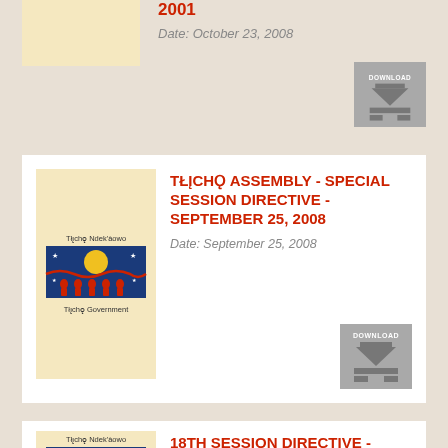[Figure (logo): Tłı̨chǫ Government logo with yellow background (partial, top card)]
2007
Date: October 23, 2008
[Figure (other): Download button with arrow icon]
[Figure (logo): Tłı̨chǫ Ndek'àowo / Tłı̨chǫ Government logo on yellow background]
TŁĮCHǪ ASSEMBLY - SPECIAL SESSION DIRECTIVE - SEPTEMBER 25, 2008
Date: September 25, 2008
[Figure (other): Download button with arrow icon]
[Figure (logo): Tłı̨chǫ Ndek'àowo / Tłı̨chǫ Government logo on yellow background]
18TH SESSION DIRECTIVE - AUGUST 9, 2008
Date: August 9, 2008